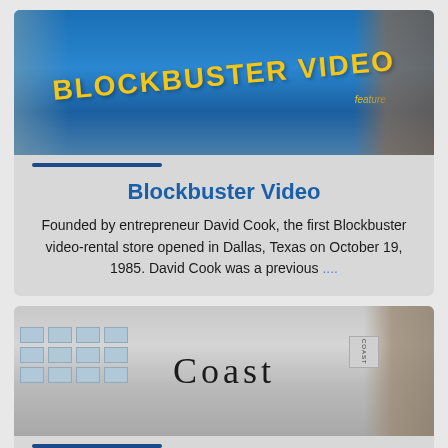[Figure (photo): Blockbuster Video store sign — blue background with yellow bold text reading BLOCKBUSTER VIDEO]
Blockbuster Video
Founded by entrepreneur David Cook, the first Blockbuster video-rental store opened in Dallas, Texas on October 19, 1985. David Cook was a previous ....
[Figure (photo): Coast store front — light grey building facade with large serif text reading Coast on the exterior]